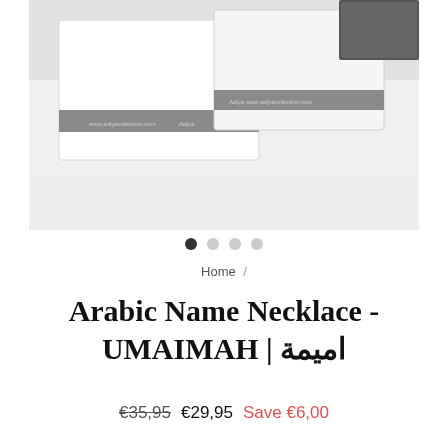[Figure (photo): Product photo showing white jewelry boxes with a grey branded ribbon/band on a white surface. A dark grey square object is visible in the top right corner of the box.]
● ○ ○ ○
Home /
Arabic Name Necklace - UMAIMAH | اميمة
€35,95  €29,95  Save €6,00